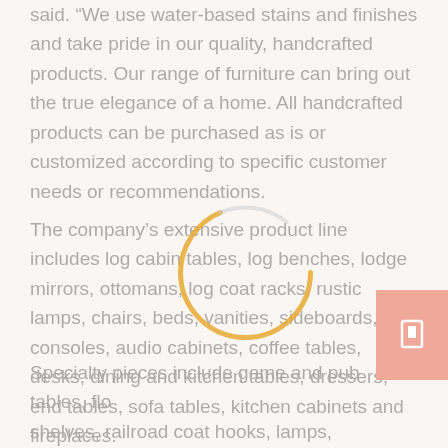said. “We use water-based stains and finishes and take pride in our quality, handcrafted products. Our range of furniture can bring out the true elegance of a home. All handcrafted products can be purchased as is or customized according to specific customer needs or recommendations.
The company’s extensive product line includes log cabin tables, log benches, lodge mirrors, ottomans, log coat racks, rustic lamps, chairs, beds, vanities, sideboards, consoles, audio cabinets, coffee tables, desks, dining and kitchen tables, dressers, end tables, sofa tables, kitchen cabinets and fireplaces.
Specialty pieces include game and pub tables, flo shelves, railroad coat hooks, lamps, mirrors, plate flag displays, wooden spoon racks, ball display cases.
[Figure (other): A circular ring/donut arc drawn in orange/gold color overlaid on the text, partially complete (about 3/4 of a circle), positioned in the middle of the page.]